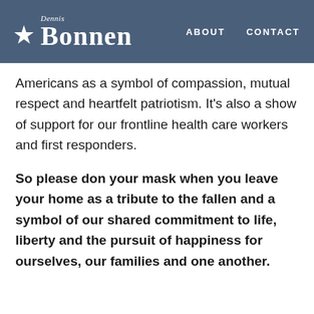Dennis Bonnen | ABOUT | CONTACT
Americans as a symbol of compassion, mutual respect and heartfelt patriotism. It's also a show of support for our frontline health care workers and first responders.
So please don your mask when you leave your home as a tribute to the fallen and a symbol of our shared commitment to life, liberty and the pursuit of happiness for ourselves, our families and one another.